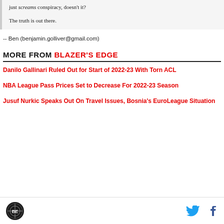just screams conspiracy, doesn't it?

The truth is out there.
-- Ben (benjamin.golliver@gmail.com)
MORE FROM BLAZER'S EDGE
Danilo Gallinari Ruled Out for Start of 2022-23 With Torn ACL
NBA League Pass Prices Set to Decrease For 2022-23 Season
Jusuf Nurkic Speaks Out On Travel Issues, Bosnia's EuroLeague Situation